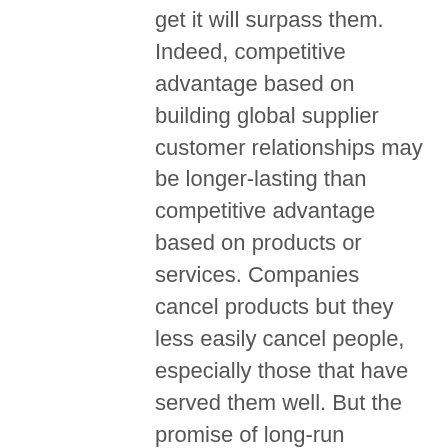get it will surpass them. Indeed, competitive advantage based on building global supplier customer relationships may be longer-lasting than competitive advantage based on products or services. Companies cancel products but they less easily cancel people, especially those that have served them well. But the promise of long-run sustainable competitive advantage can be secured only if the firm truly focuses in serving the global customer. No matter where they are located, all firm employees must understand they are competing in a global world and that success with global customers is the Holy Grail. They must throw off the shackles of ethno-centrism and nationalism acquired in their youths,